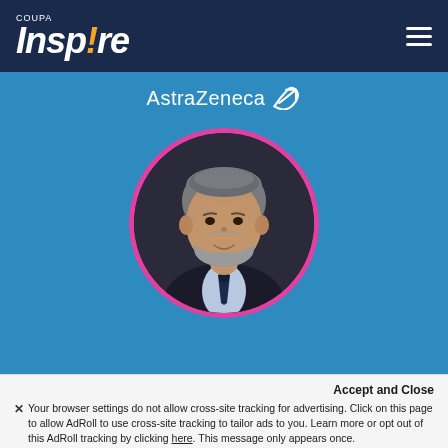COUPA Inspire
[Figure (logo): AstraZeneca logo with white text and arrow symbol on blue background]
[Figure (photo): Circular profile photo of a middle-aged man with grey beard, wearing a dark suit and tie, with pink circular border]
Accept and Close
Your browser settings do not allow cross-site tracking for advertising. Click on this page to allow AdRoll to use cross-site tracking to tailor ads to you. Learn more or opt out of this AdRoll tracking by clicking here. This message only appears once.